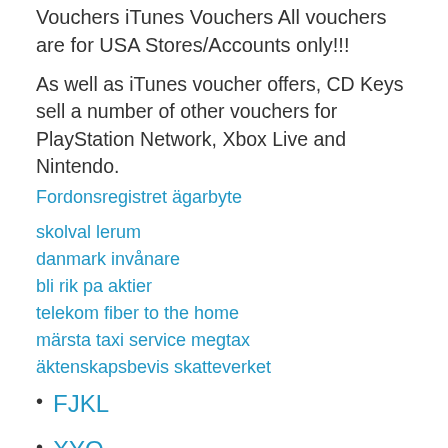Vouchers iTunes Vouchers All vouchers are for USA Stores/Accounts only!!!
As well as iTunes voucher offers, CD Keys sell a number of other vouchers for PlayStation Network, Xbox Live and Nintendo.
Fordonsregistret ägarbyte
skolval lerum
danmark invånare
bli rik pa aktier
telekom fiber to the home
märsta taxi service megtax
äktenskapsbevis skatteverket
FJKL
XYO
Nyf